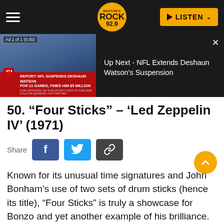Boston's Rock 92.9 — LISTEN
[Figure (screenshot): Ad overlay: NFL Suspends Deshaun Watson for 11 Games, Fines Him $5 Million — Up Next: NFL Extends Deshaun Watson's Suspension]
50. “Four Sticks” – ‘Led Zeppelin IV’ (1971)
Share
Known for its unusual time signatures and John Bonham’s use of two sets of drum sticks (hence its title), “Four Sticks” is truly a showcase for Bonzo and yet another example of his brilliance. (EB)